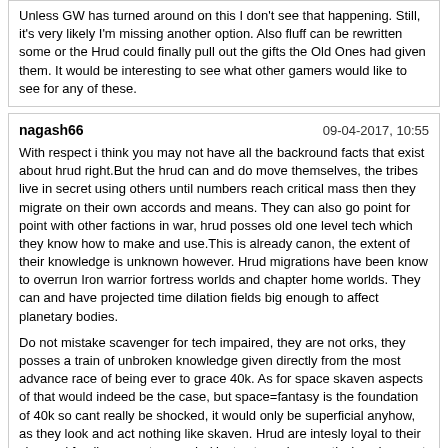Unless GW has turned around on this I don't see that happening. Still, it's very likely I'm missing another option. Also fluff can be rewritten some or the Hrud could finally pull out the gifts the Old Ones had given them. It would be interesting to see what other gamers would like to see for any of these.
nagash66
09-04-2017, 10:55
With respect i think you may not have all the backround facts that exist about hrud right.But the hrud can and do move themselves, the tribes live in secret using others until numbers reach critical mass then they migrate on their own accords and means. They can also go point for point with other factions in war, hrud posses old one level tech which they know how to make and use.This is already canon, the extent of their knowledge is unknown however. Hrud migrations have been know to overrun Iron warrior fortress worlds and chapter home worlds. They can and have projected time dilation fields big enough to affect planetary bodies.

Do not mistake scavenger for tech impaired, they are not orks, they posses a train of unbroken knowledge given directly from the most advance race of being ever to grace 40k. As for space skaven aspects of that would indeed be the case, but space=fantasy is the foundation of 40k so cant really be shocked, it would only be superficial anyhow, as they look and act nothing like skaven. Hrud are intesly loyal to their clan and family, are not cowards ( just extremely secretive) and are not 'evil', they treat their 'slaves' well and genuinely care for them ( as much as drug addicted humans can be seen as pets).

May i ask have you ever had chance to read thru Xenology?
barrangas
09-04-2017, 23:48
This is where I've been getting my info:

http://warhammer40k.wikia.com/wiki/Hrud
http://wh40k.lexicanum.com/wiki/Hrud